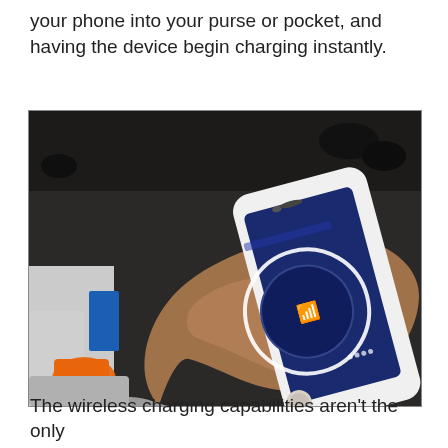your phone into your purse or pocket, and having the device begin charging instantly.
[Figure (photo): A hand holding a white iPhone displaying a wireless charging app with a circular progress indicator and a small wireless charging icon on a dark blue screen background. The phone is held against a dark surface.]
The wireless charging capabilities aren't the only